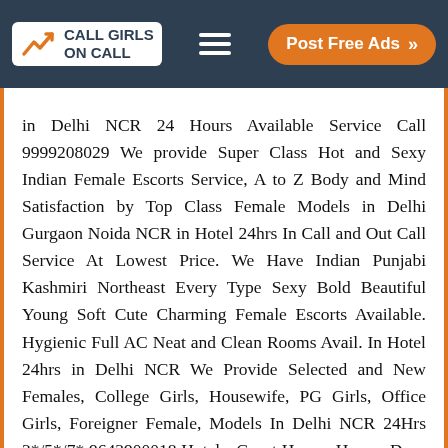CALL GIRLS ON CALL | Post Free Ads
in Delhi NCR 24 Hours Available Service Call 9999208029 We provide Super Class Hot and Sexy Indian Female Escorts Service, A to Z Body and Mind Satisfaction by Top Class Female Models in Delhi Gurgaon Noida NCR in Hotel 24hrs In Call and Out Call Service At Lowest Price. We Have Indian Punjabi Kashmiri Northeast Every Type Sexy Bold Beautiful Young Soft Cute Charming Female Escorts Available. Hygienic Full AC Neat and Clean Rooms Avail. In Hotel 24hrs in Delhi NCR We Provide Selected and New Females, College Girls, Housewife, PG Girls, Office Girls, Foreigner Female, Models In Delhi NCR 24Hrs 3*/5*/7* 9643900018 Hotels, Guest House, Homes Door Step Service High Class Beautiful Model Escorts in Delhi;service call all type of delhi local punjabi collage girl in delhi call 9643900018 Ultimate Destination for finding a High Profile Independent Escorts in Delhi Gurgaon Noida